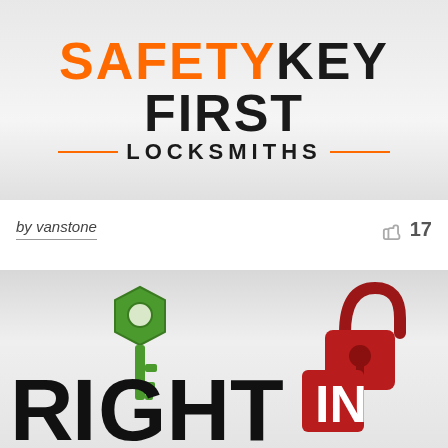[Figure (logo): Safety Key First Locksmiths logo with orange and black text, orange divider lines flanking the word LOCKSMITHS]
by vanstone
[Figure (logo): RIGHT IN LLC locksmith logo with a green key, red padlock, bold black text reading RIGHT IN, and red box with white IN]
17